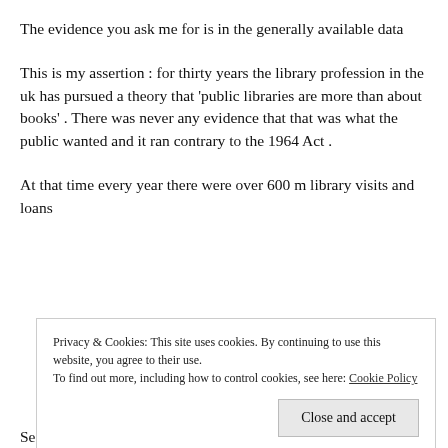The evidence you ask me for is in the generally available data
This is my assertion : for thirty years the library profession in the uk has pursued a theory that ‘public libraries are more than about books’ . There was never any evidence that that was what the public wanted and it ran contrary to the 1964 Act .
At that time every year there were over 600 m library visits and loans
Privacy & Cookies: This site uses cookies. By continuing to use this website, you agree to their use.
To find out more, including how to control cookies, see here: Cookie Policy
Seeking to provide ‘more than books’ libraries have